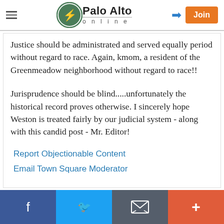Palo Alto online
Justice should be administrated and served equally period without regard to race. Again, kmom, a resident of the Greenmeadow neighborhood without regard to race!!
Jurisprudence should be blind.....unfortunately the historical record proves otherwise. I sincerely hope Weston is treated fairly by our judicial system - along with this candid post - Mr. Editor!
Report Objectionable Content
Email Town Square Moderator
Facebook | Twitter | Email | Plus